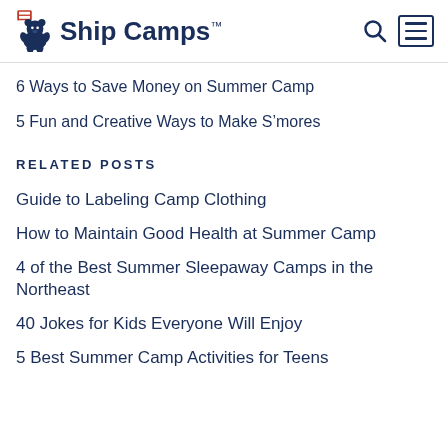Ship Camps
6 Ways to Save Money on Summer Camp
5 Fun and Creative Ways to Make S’mores
RELATED POSTS
Guide to Labeling Camp Clothing
How to Maintain Good Health at Summer Camp
4 of the Best Summer Sleepaway Camps in the Northeast
40 Jokes for Kids Everyone Will Enjoy
5 Best Summer Camp Activities for Teens